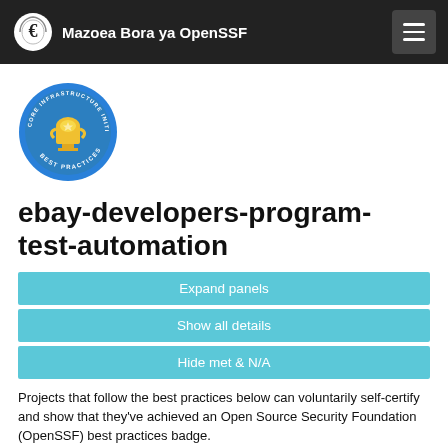Mazoea Bora ya OpenSSF
[Figure (logo): CII Best Practices badge — circular blue badge with a gold trophy and the text 'CORE INFRASTRUCTURE INITIATIVE' and 'BEST PRACTICES']
ebay-developers-program-test-automation
Expand panels
Show all details
Hide met & N/A
Projects that follow the best practices below can voluntarily self-certify and show that they've achieved an Open Source Security Foundation (OpenSSF) best practices badge.